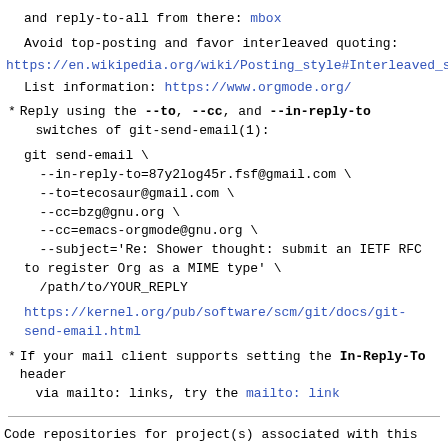and reply-to-all from there: mbox
Avoid top-posting and favor interleaved quoting:
https://en.wikipedia.org/wiki/Posting_style#Interleaved_s
List information: https://www.orgmode.org/
* Reply using the --to, --cc, and --in-reply-to switches of git-send-email(1):
git send-email \
  --in-reply-to=87y2log45r.fsf@gmail.com \
  --to=tecosaur@gmail.com \
  --cc=bzg@gnu.org \
  --cc=emacs-orgmode@gnu.org \
  --subject='Re: Shower thought: submit an IETF RFC to register Org as a MIME type' \
  /path/to/YOUR_REPLY
https://kernel.org/pub/software/scm/git/docs/git-send-email.html
* If your mail client supports setting the In-Reply-To header via mailto: links, try the mailto: link
Code repositories for project(s) associated with this inbox: